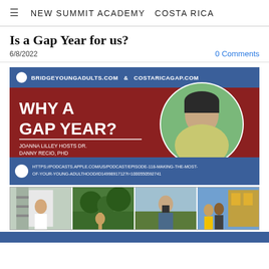NEW SUMMIT ACADEMY  COSTA RICA
Is a Gap Year for us?
6/8/2022
0 Comments
[Figure (infographic): Podcast banner for 'Why a Gap Year?' featuring BRIDGEYOUNGADULTS.COM & COSTARICAGAP.COM. Text: WHY A GAP YEAR? JOANNA LILLEY HOSTS DR. DANNY RECIO, PHD. SUCCESS IS SUBJECTIVE PODCAST. URL: HTTPS://PODCASTS.APPLE.COM/US/PODCAST/EPISODE-118-MAKING-THE-MOST-OF-YOUR-YOUNG-ADULTHOOD/ID1499891712?I=1000550592741. Photo of a smiling man in a yellow shirt with dark hair.]
[Figure (photo): Strip of four photographs showing various activities related to gap year experiences.]